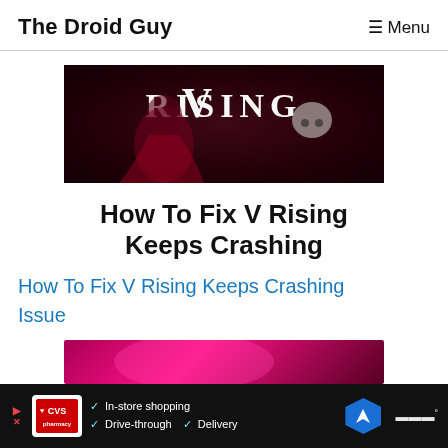The Droid Guy   ☰ Menu
[Figure (photo): V Rising game banner — dark gothic background with the V Rising logo, a vampire character in red and a skeleton holding a weapon]
How To Fix V Rising Keeps Crashing
How To Fix V Rising Keeps Crashing Issue
[Figure (photo): Partial image with pink/magenta glow, partially cut off at bottom of page]
[Figure (other): Advertisement bar: CVS Pharmacy ad with checkmarks listing In-store shopping, Drive-through, Delivery; blue navigation arrow icon; weather widget icon on right]